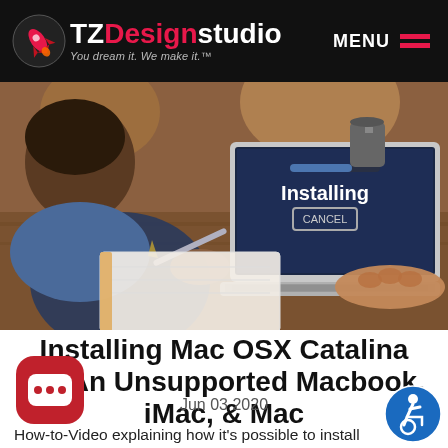TZDesignstudio — You dream it. We make it.™ | MENU
[Figure (photo): Person sitting at a desk writing in a notebook while using a laptop that shows an 'Installing' screen with a Cancel button.]
Installing Mac OSX Catalina On An Unsupported Macbook, iMac, & Mac
Jun 03 2020
How-to-Video explaining how it's possible to install